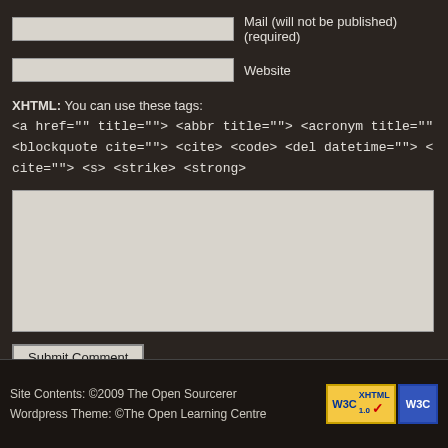Mail (will not be published) (required)
Website
XHTML: You can use these tags: <a href="" title=""> <abbr title=""> <acronym title="" <blockquote cite=""> <cite> <code> <del datetime=""> < cite=""> <s> <strike> <strong>
Submit Comment
Site Contents: ©2009 The Open Sourcerer
Wordpress Theme: ©The Open Learning Centre